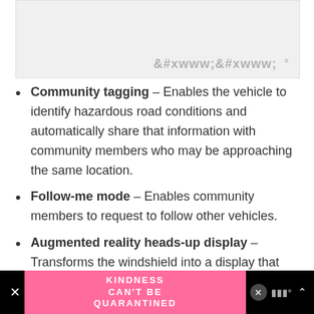[Figure (other): Gray placeholder image area at top of page]
Community tagging – Enables the vehicle to identify hazardous road conditions and automatically share that information with community members who may be approaching the same location.
Follow-me mode – Enables community members to request to follow other vehicles.
Augmented reality heads-up display – Transforms the windshield into a display that provides
[Figure (other): Advertisement banner at bottom: pink background with text KINDNESS CAN'T BE QUARANTINED, with close buttons and app logo]